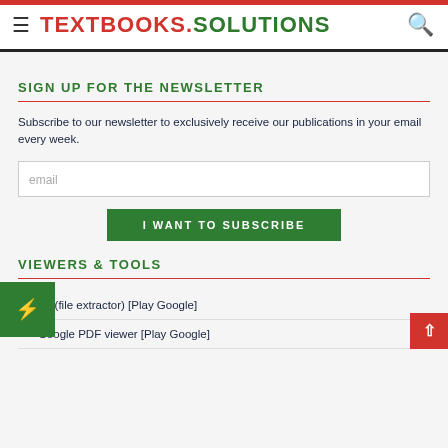TEXTBOOKS.SOLUTIONS
SIGN UP FOR THE NEWSLETTER
Subscribe to our newsletter to exclusively receive our publications in your email every week.
email
I WANT TO SUBSCRIBE
VIEWERS & TOOLS
KJAR (file extractor) [Play Google]
Google PDF viewer [Play Google]